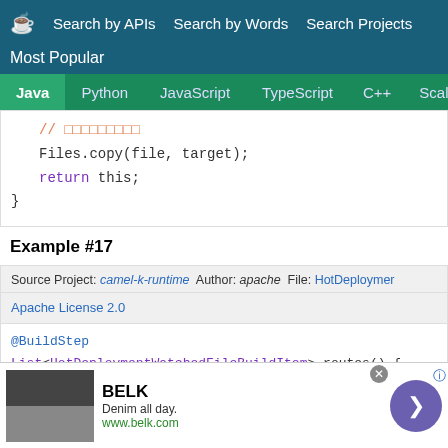Search by APIs  Search by Words  Search Projects  Most Popular
Java  Python  JavaScript  TypeScript  C++  Scala
// xxxxxxxxx
Files.copy(file, target);
return this;
}
Example #17
Source Project: camel-k-runtime  Author: apache  File: HotDeploymer  Apache License 2.0
@BuildStep
List<HotDeploymentWatchedFileBuildItem> routes() {
[Figure (screenshot): Advertisement for BELK - Denim all day. www.belk.com with a circular arrow button]